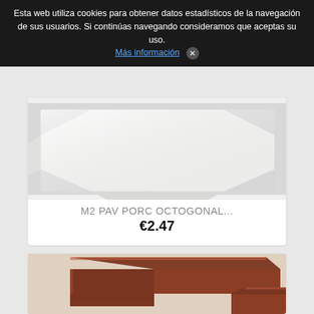Esta web utiliza cookies para obtener datos estadísticos de la navegación de sus usuarios. Si continúas navegando consideramos que aceptas su uso. Más información ✕
[Figure (photo): White octagonal porcelain tile on a light gray background]
M2 PAV PORC OCTOGONAL...
€2.47
[Figure (photo): Brown/red glazed corner tile pieces stacked, on a white background]